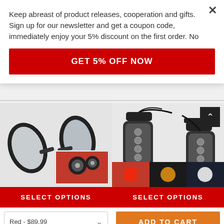Keep abreast of product releases, cooperation and gifts. Sign up for our newsletter and get a coupon code, immediately enjoy your 5% discount on the first order. No
GET 5% OFF NOW
[Figure (photo): Two motorcycle mirrors (black) shown from multiple angles]
SELECT OPTIONS
Red - $89.99
[Figure (photo): Two LED indicator lights (black) for motorcycle, with red/amber/white light mode photos below]
SELECT OPTIONS
ADD TO CART